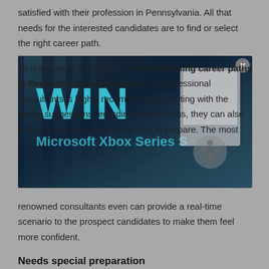satisfied with their profession in Pennsylvania. All that needs for the interested candidates are to find or select the right career path.
[Figure (screenshot): An advertisement overlay showing 'WIN Microsoft Xbox Series S' with a gaming controller image and a close (x) button in the top right corner, overlapping the article text.]
To understand or figure out the best nursing career paths in Pennsylvania, taking the help of professional consultants is highly recommended. Starting with the useful suggestions regarding career paths, they can also help guide the candidates on how to prepare. The most renowned consultants even can provide a real-time scenario to the prospect candidates to make them feel more confident.
Needs special preparation
The prospect nursing professionals need to prepare